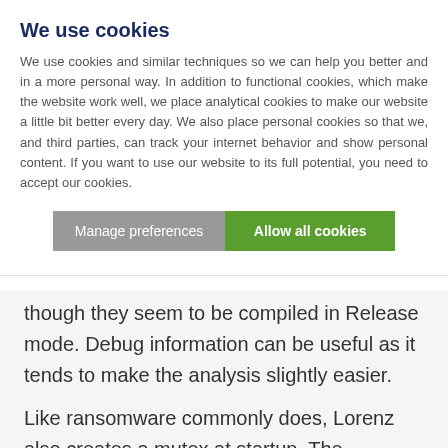We use cookies
We use cookies and similar techniques so we can help you better and in a more personal way. In addition to functional cookies, which make the website work well, we place analytical cookies to make our website a little bit better every day. We also place personal cookies so that we, and third parties, can track your internet behavior and show personal content. If you want to use our website to its full potential, you need to accept our cookies.
Manage preferences | Allow all cookies
though they seem to be compiled in Release mode. Debug information can be useful as it tends to make the analysis slightly easier.
Like ransomware commonly does, Lorenz also creates a mutex at startup. The